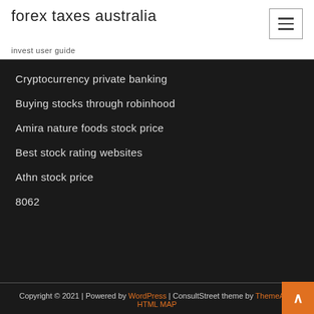forex taxes australia
invest user guide
Cryptocurrency private banking
Buying stocks through robinhood
Amira nature foods stock price
Best stock rating websites
Athn stock price
8062
Copyright © 2021 | Powered by WordPress | ConsultStreet theme by ThemeArile HTML MAP